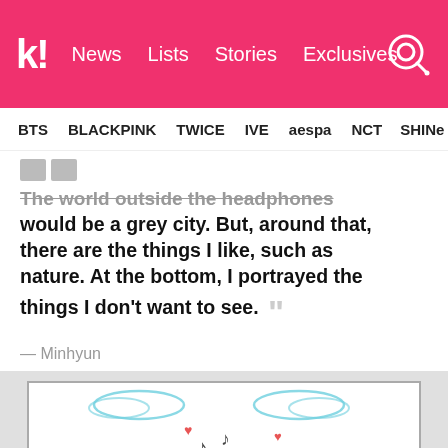k! News Lists Stories Exclusives
BTS BLACKPINK TWICE IVE aespa NCT SHIN
The world outside the headphones would be a grey city. But, around that, there are the things I like, such as nature. At the bottom, I portrayed the things I don't want to see.
— Minhyun
[Figure (illustration): A simple hand-drawn illustration showing two figures facing each other wearing headphones, with music notes floating between them, small hearts, yellow mountain/nature backgrounds, and light blue cloud shapes at the top.]